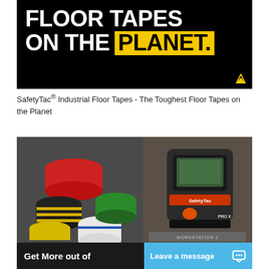[Figure (illustration): Black banner with white bold text 'FLOOR TAPES ON THE' and 'PLANET.' in a yellow box, with a small arrow icon in the bottom right corner]
SafetyTac® Industrial Floor Tapes - The Toughest Floor Tapes on the Planet
[Figure (photo): Product photo split: left side shows colorful rolls of floor tape (red, black/yellow striped, yellow, blue-edged white, green); right side shows a black PRO X tape dispenser device on a surface labeled WORKSTATION 1]
Get More out of
Leave a message